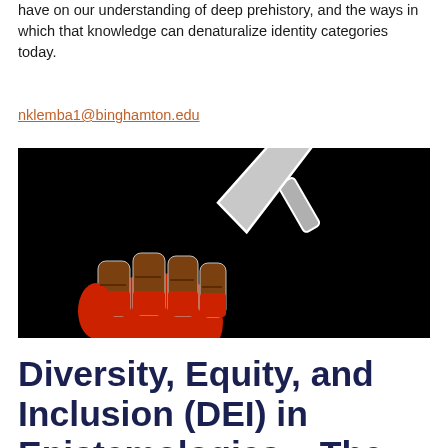have on our understanding of deep prehistory, and the ways in which that knowledge can denaturalize identity categories today.
nklemba1@binghamton.edu
[Figure (illustration): A stylized graphic on a black background showing a raised red fist gripping a gray trowel (archaeological tool). The fist has brown and red tones, and the trowel is light gray with a white outline.]
Diversity, Equity, and Inclusion (DEI) in Epistemologies – The Line Between Bodies and Kno…